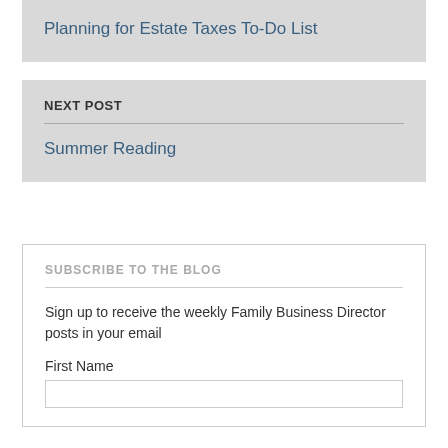Planning for Estate Taxes To-Do List
NEXT POST
Summer Reading
SUBSCRIBE TO THE BLOG
Sign up to receive the weekly Family Business Director posts in your email
First Name